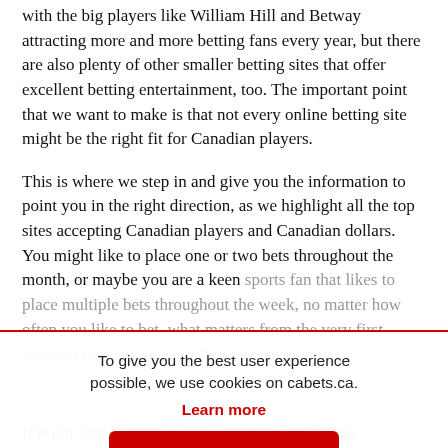with the big players like William Hill and Betway attracting more and more betting fans every year, but there are also plenty of other smaller betting sites that offer excellent betting entertainment, too. The important point that we want to make is that not every online betting site might be the right fit for Canadian players.
This is where we step in and give you the information to point you in the right direction, as we highlight all the top sites accepting Canadian players and Canadian dollars. You might like to place one or two bets throughout the month, or maybe you are a keen sports fan that likes to place multiple bets throughout the week, no matter how often you like to bet, what matters from the very first moment is that you bet at the right sites.
To give you the best user experience possible, we use cookies on cabets.ca. Learn more
OK
It is our aim to provide you with the right betting...